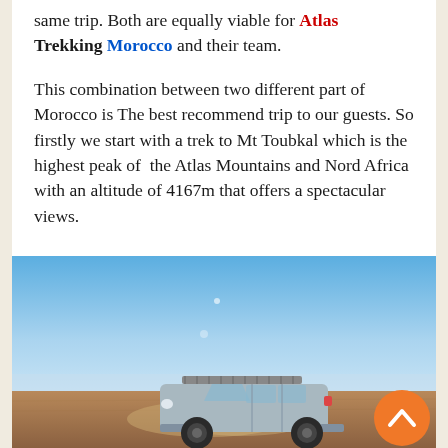same trip. Both are equally viable for Atlas Trekking Morocco and their team.
This combination between two different part of Morocco is The best recommend trip to our guests. So firstly we start with a trek to Mt Toubkal which is the highest peak of the Atlas Mountains and Nord Africa with an altitude of 4167m that offers a spectacular views.
[Figure (photo): A silver SUV/4x4 vehicle driving across a flat desert terrain with a clear blue sky in the background, kicking up dust. An orange circular scroll-to-top button is overlaid in the bottom right corner.]